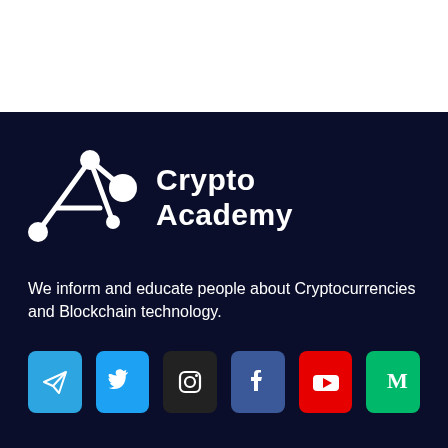[Figure (logo): Crypto Academy logo with white geometric atom/triangle icon and white bold text reading 'Crypto Academy' on dark navy background]
We inform and educate people about Cryptocurrencies and Blockchain technology.
[Figure (infographic): Row of six social media icon buttons: Telegram (blue), Twitter (light blue), Instagram (dark/black), Facebook (dark blue), YouTube (red), Medium (green)]